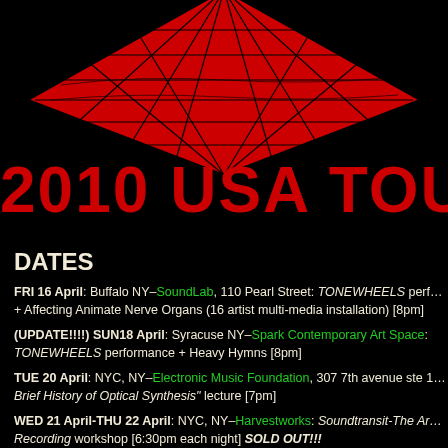[Figure (illustration): Red diamond/crystal geometric shape with internal line patterns on black background, partial view at top]
2010 USA TOUR
DATES
FRI 16 April: Buffalo NY–SoundLab, 110 Pearl Street: TONEWHEELS performance + Affecting Animate Nerve Organs (16 artist multi-media installation) [8pm]
(UPDATE!!!!) SUN18 April: Syracuse NY–Spark Contemporary Art Space: TONEWHEELS performance + Heavy Hymns [8pm]
TUE 20 April: NYC, NY–Electronic Music Foundation, 307 7th avenue ste 1: Brief History of Optical Synthesis" lecture [7pm]
WED 21 April-THU 22 April: NYC, NY–Harvestworks: Soundtransit-The Art of Field Recording workshop [6:30pm each night] SOLD OUT!!!
FRI 23 April: NYC, NY–Bent Festival, Dumbo, 81 Front Street: TONEWHEELS workshop [12pm] performance [8pm]